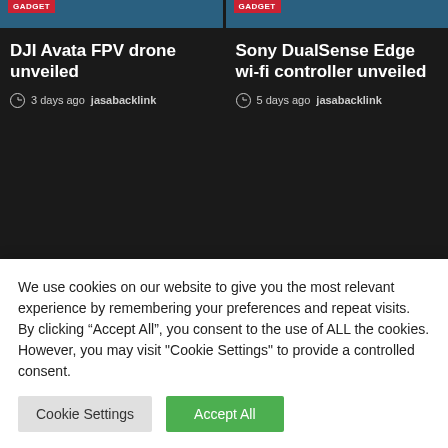[Figure (screenshot): Top article card: DJI Avata FPV drone unveiled with GADGET badge and blue image strip]
DJI Avata FPV drone unveiled
3 days ago  jasabacklink
[Figure (screenshot): Top article card: Sony DualSense Edge wi-fi controller unveiled with GADGET badge and blue image strip]
Sony DualSense Edge wi-fi controller unveiled
5 days ago  jasabacklink
[Figure (photo): Photo of smartwatch/fitness band devices in colorful tones on blue background]
[Figure (photo): Photo of white earbuds on light teal background]
We use cookies on our website to give you the most relevant experience by remembering your preferences and repeat visits. By clicking “Accept All”, you consent to the use of ALL the cookies. However, you may visit "Cookie Settings" to provide a controlled consent.